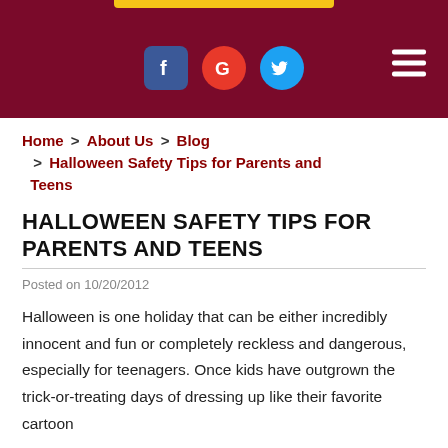[Figure (screenshot): Website navigation header bar with dark red background, social media icons (Facebook, Google, Twitter), and hamburger menu icon on the right]
Home > About Us > Blog > Halloween Safety Tips for Parents and Teens
HALLOWEEN SAFETY TIPS FOR PARENTS AND TEENS
Posted on 10/20/2012
Halloween is one holiday that can be either incredibly innocent and fun or completely reckless and dangerous, especially for teenagers. Once kids have outgrown the trick-or-treating days of dressing up like their favorite cartoon